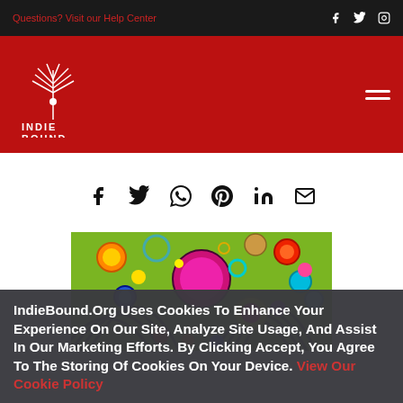Questions? Visit our Help Center
[Figure (logo): IndieBound logo — white illustrated bird on red background with INDIEBOUND text]
[Figure (infographic): Social sharing icons row: Facebook, Twitter, WhatsApp, Pinterest, LinkedIn, Email]
[Figure (illustration): Colorful book cover illustration with circles and swirls on green background]
IndieBound.Org Uses Cookies To Enhance Your Experience On Our Site, Analyze Site Usage, And Assist In Our Marketing Efforts. By Clicking Accept, You Agree To The Storing Of Cookies On Your Device. View Our Cookie Policy